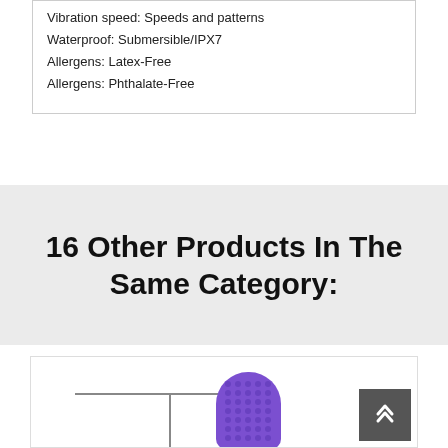Vibration speed: Speeds and patterns
Waterproof: Submersible/IPX7
Allergens: Latex-Free
Allergens: Phthalate-Free
16 Other Products In The Same Category:
[Figure (photo): Product image showing a purple textured vibrator with a T-bar stand structure, partially visible from the top.]